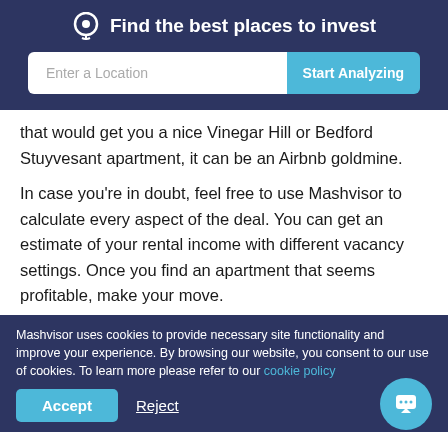Find the best places to invest
that would get you a nice Vinegar Hill or Bedford Stuyvesant apartment, it can be an Airbnb goldmine.
In case you’re in doubt, feel free to use Mashvisor to calculate every aspect of the deal. You can get an estimate of your rental income with different vacancy settings. Once you find an apartment that seems profitable, make your move.
Mashvisor uses cookies to provide necessary site functionality and improve your experience. By browsing our website, you consent to our use of cookies. To learn more please refer to our cookie policy